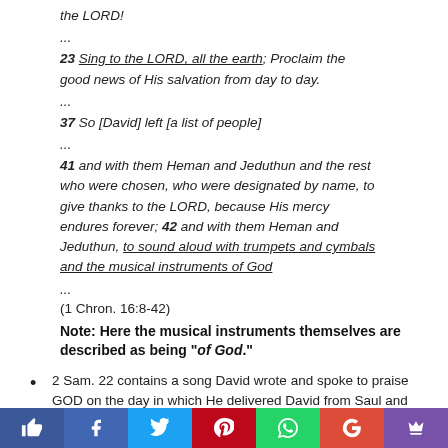the LORD!
...
23 Sing to the LORD, all the earth; Proclaim the good news of His salvation from day to day.
...
37 So [David] left [a list of people]
...
41 and with them Heman and Jeduthun and the rest who were chosen, who were designated by name, to give thanks to the LORD, because His mercy endures forever; 42 and with them Heman and Jeduthun, to sound aloud with trumpets and cymbals and the musical instruments of God
...
(1 Chron. 16:8-42)
Note: Here the musical instruments themselves are described as being "of God."
2 Sam. 22 contains a song David wrote and spoke to praise GOD on the day in which He delivered David from Saul and his enemies.
Praise, singing, and instruments associated with worship at the temple.